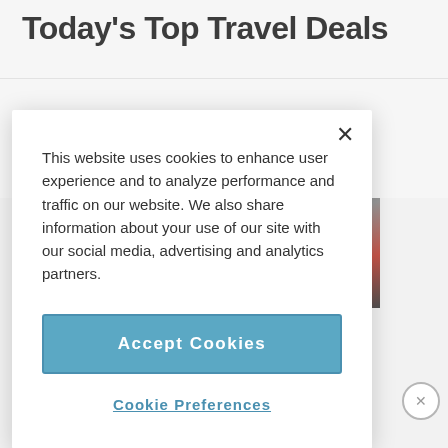Today's Top Travel Deals
This website uses cookies to enhance user experience and to analyze performance and traffic on our website. We also share information about your use of our site with our social media, advertising and analytics partners.
Accept Cookies
Cookie Preferences
ADVERTISEMENT